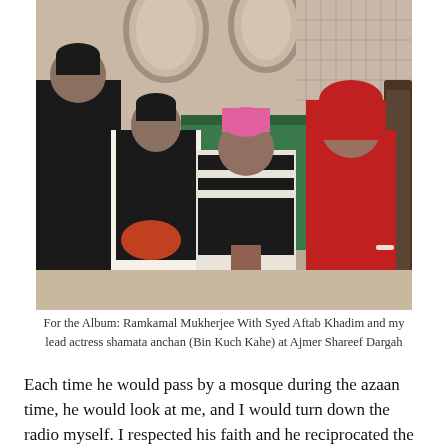[Figure (photo): Group of people standing inside what appears to be Ajmer Shareef Dargah. A man in black with hands folded in prayer, a woman in red headscarf, a man in black vest holding cloth. Islamic architecture visible in background with arched windows.]
For the Album: Ramkamal Mukherjee With Syed Aftab Khadim and my lead actress shamata anchan (Bin Kuch Kahe) at Ajmer Shareef Dargah
Each time he would pass by a mosque during the azaan time, he would look at me, and I would turn down the radio myself. I respected his faith and he reciprocated the same.
He served me as my most efficient chauffer for almost a